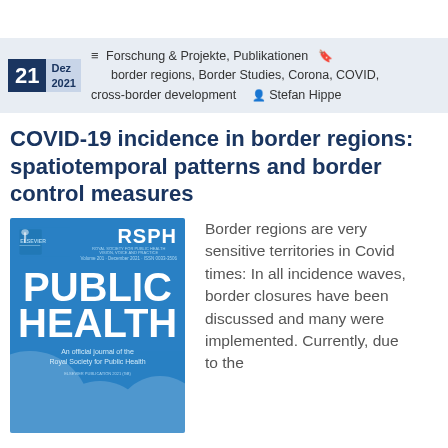21 Dez 2021  ≡ Forschung & Projekte, Publikationen  border regions, Border Studies, Corona, COVID, cross-border development  Stefan Hippe
COVID-19 incidence in border regions: spatiotemporal patterns and border control measures
[Figure (photo): Cover of Public Health journal, Volume 201, December 2021, published by Elsevier and Royal Society for Public Health (RSPH)]
Border regions are very sensitive territories in Covid times: In all incidence waves, border closures have been discussed and many were implemented. Currently, due to the